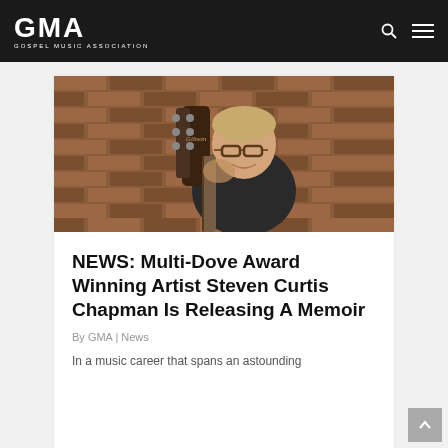GMA GOSPEL MUSIC ASSOCIATION
[Figure (photo): Man holding a Gibson guitar in front of a brick wall background, wearing dark shirt and glasses, smiling slightly]
NEWS: Multi-Dove Award Winning Artist Steven Curtis Chapman Is Releasing A Memoir
By GMA | News
In a music career that spans an astounding